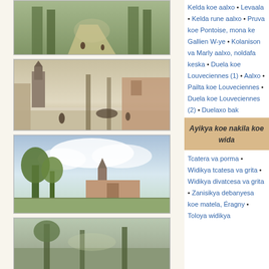[Figure (photo): Painting of a tree-lined path or avenue with figures walking, impressionist style]
[Figure (photo): Painting of a winter street scene with a church tower and horse-drawn carriages and figures in snow]
[Figure (photo): Painting of a village scene with trees and church spire under cloudy sky]
[Figure (photo): Painting partially visible at the bottom, landscape scene]
Kelda koe aalxo • Levaala • Kelda rune aalxo • Pruva koe Pontoise, mona ke Gallien W-ye • Kolanison va Marly aalxo, noldafa keska • Duela koe Louveciennes (1) • Aalxo • Pailta koe Louveciennes • Duela koe Louveciennes (2) • Duelaxo bak fentugal, Louveciennes • Duelaxo koe Louveciennes
Ayikya koe nakila koe wida
Tcatera va porma • Widikya tcatesa va grita • Widikya divatcesa va grita • Zanisikya debanyesa koe matela, Éragny • Toloya widikya